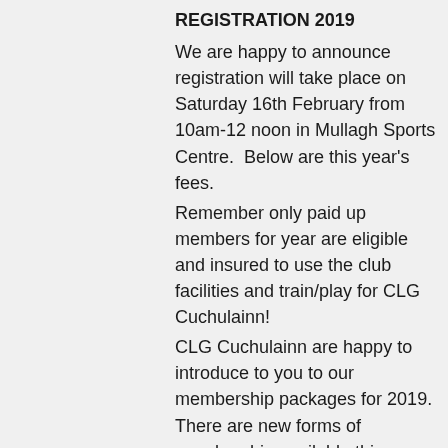REGISTRATION 2019
We are happy to announce registration will take place on Saturday 16th February from 10am-12 noon in Mullagh Sports Centre.  Below are this year's fees.
Remember only paid up members for year are eligible and insured to use the club facilities and train/play for CLG Cuchulainn!
CLG Cuchulainn are happy to introduce to you to our membership packages for 2019.  There are new forms of membership available this year and we would like your help to continue to develop additional facilities and build on the success of our club at various levels.  The development of the club is to ensure that the future footballers, juveniles, ladies & adult players are given the best facilities that they need to succeed, to wear the white and blue jersey with pride and honour.
As you are aware, we cater for ladies & mens football teams, underage boys & girl's football teams, minor, U-20, junior and senior teams.  Our teams have shown us continued success in the past